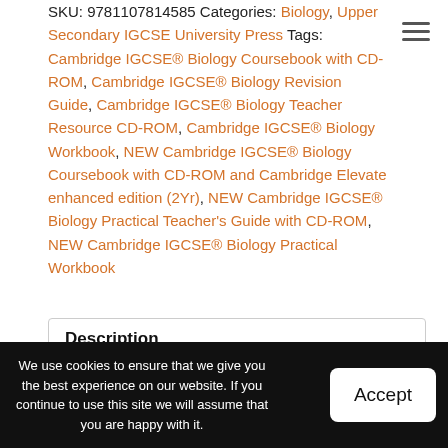SKU: 9781107814585 Categories: Biology, Upper Secondary IGCSE University Press Tags: Cambridge IGCSE® Biology Coursebook with CD-ROM, Cambridge IGCSE® Biology Revision Guide, Cambridge IGCSE® Biology Teacher Resource CD-ROM, Cambridge IGCSE® Biology Workbook, NEW Cambridge IGCSE® Biology Coursebook with CD-ROM and Cambridge Elevate enhanced edition (2Yr), NEW Cambridge IGCSE® Biology Practical Teacher's Guide with CD-ROM, NEW Cambridge IGCSE® Biology Practical Workbook
Description
We use cookies to ensure that we give you the best experience on our website. If you continue to use this site we will assume that you are happy with it.